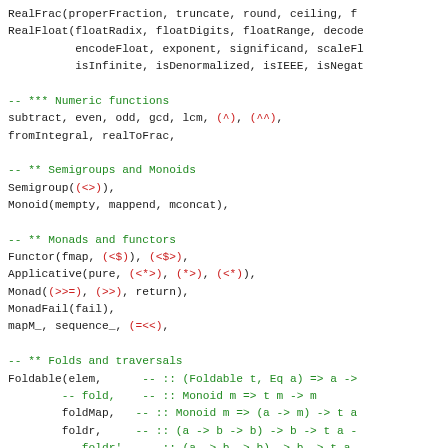RealFrac(properFraction, truncate, round, ceiling, f
RealFloat(floatRadix, floatDigits, floatRange, decode
          encodeFloat, exponent, significand, scaleFl
          isInfinite, isDenormalized, isIEEE, isNegat

-- *** Numeric functions
subtract, even, odd, gcd, lcm, (^), (^^),
fromIntegral, realToFrac,

-- ** Semigroups and Monoids
Semigroup((<>)),
Monoid(mempty, mappend, mconcat),

-- ** Monads and functors
Functor(fmap, (<$)), (<$>),
Applicative(pure, (<*>), (*>), (<*)),
Monad((>>=), (>>), return),
MonadFail(fail),
mapM_, sequence_, (=<<),

-- ** Folds and traversals
Foldable(elem,      -- :: (Foldable t, Eq a) => a ->
        -- fold,    -- :: Monoid m => t m -> m
        foldMap,   -- :: Monoid m => (a -> m) -> t a
        foldr,     -- :: (a -> b -> b) -> b -> t a -
        -- foldr',  -- :: (a -> b -> b) -> b -> t a -
        foldl,     -- :: (b -> a -> b) -> b -> t a -
        -- foldl',  -- :: (b -> a -> b) -> b -> t a -
        foldr1,    -- :: (a -> a -> a) -> t a -> a
        foldl1,    -- :: (a -> a -> a) -> t a -> a